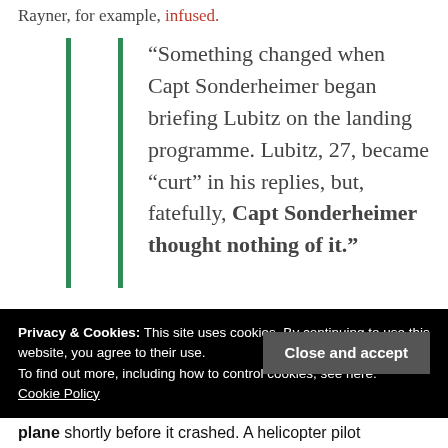Rayner, for example, infused.
“Something changed when Capt Sonderheimer began briefing Lubitz on the landing programme. Lubitz, 27, became “curt” in his replies, but, fatefully, Capt Sonderheimer thought nothing of it.”
Privacy & Cookies: This site uses cookies. By continuing to use this website, you agree to their use.
To find out more, including how to control cookies, see here:
Cookie Policy
Close and accept
plane shortly before it crashed. A helicopter pilot